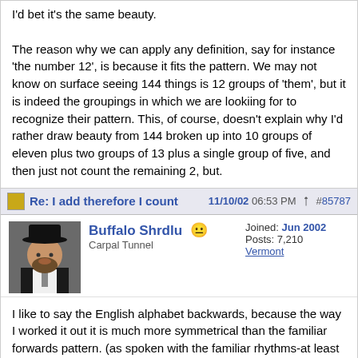I'd bet it's the same beauty.

The reason why we can apply any definition, say for instance 'the number 12', is because it fits the pattern. We may not know on surface seeing 144 things is 12 groups of 'them', but it is indeed the groupings in which we are lookiing for to recognize their pattern. This, of course, doesn't explain why I'd rather draw beauty from 144 broken up into 10 groups of eleven plus two groups of 13 plus a single group of five, and then just not count the remaining 2, but.
Re: I add therefore I count
11/10/02 06:53 PM #85787
Buffalo Shrdlu
Carpal Tunnel
Joined: Jun 2002
Posts: 7,210
Vermont
I like to say the English alphabet backwards, because the way I worked it out it is much more symmetrical than the familiar forwards pattern. (as spoken with the familiar rhythms-at least to me)

forwards:
abcdefg hijklmnop qrs tuv wxyz